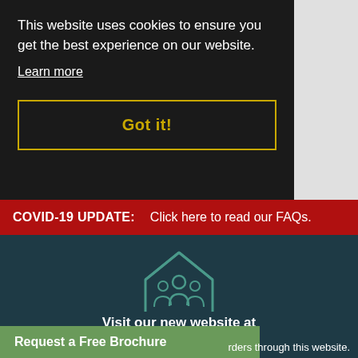This website uses cookies to ensure you get the best experience on our website.
Learn more
Got it!
COVID-19 UPDATE: Click here to read our FAQs.
[Figure (logo): Greenhouse People logo: outline of a house with three people inside, teal color on dark teal background]
greenhouse people
Visit our new website at
ple.co.uk »
Request a Free Brochure
rders through this website.